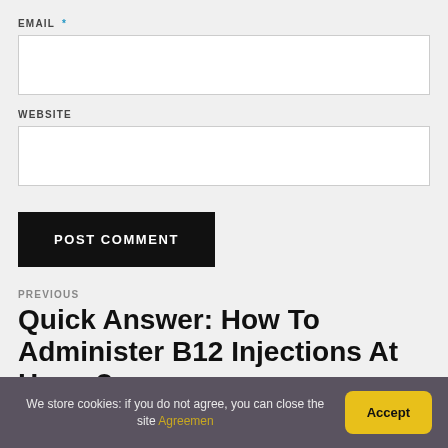EMAIL *
WEBSITE
POST COMMENT
PREVIOUS
Quick Answer: How To Administer B12 Injections At Home?
We store cookies: if you do not agree, you can close the site Agreemen  Accept